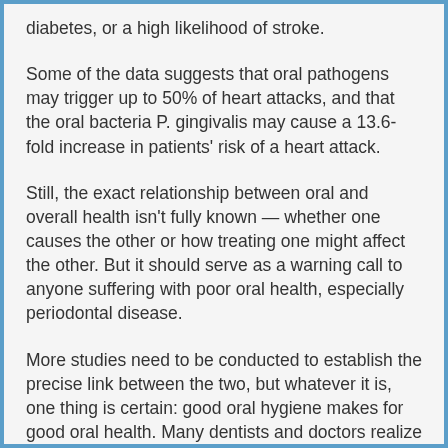diabetes, or a high likelihood of stroke.
Some of the data suggests that oral pathogens may trigger up to 50% of heart attacks, and that the oral bacteria P. gingivalis may cause a 13.6-fold increase in patients' risk of a heart attack.
Still, the exact relationship between oral and overall health isn't fully known — whether one causes the other or how treating one might affect the other. But it should serve as a warning call to anyone suffering with poor oral health, especially periodontal disease.
More studies need to be conducted to establish the precise link between the two, but whatever it is, one thing is certain: good oral hygiene makes for good oral health. Many dentists and doctors realize the need to work together as a cohesive healthcare team to improve and maintain the health of their communities.